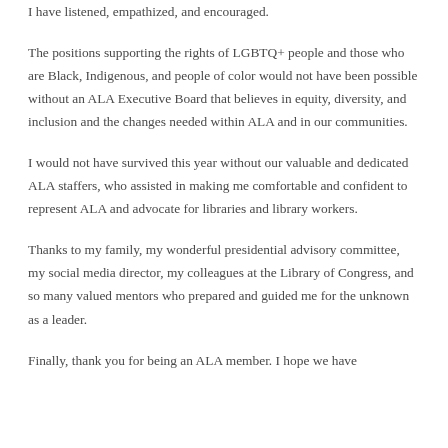I have listened, empathized, and encouraged.
The positions supporting the rights of LGBTQ+ people and those who are Black, Indigenous, and people of color would not have been possible without an ALA Executive Board that believes in equity, diversity, and inclusion and the changes needed within ALA and in our communities.
I would not have survived this year without our valuable and dedicated ALA staffers, who assisted in making me comfortable and confident to represent ALA and advocate for libraries and library workers.
Thanks to my family, my wonderful presidential advisory committee, my social media director, my colleagues at the Library of Congress, and so many valued mentors who prepared and guided me for the unknown as a leader.
Finally, thank you for being an ALA member. I hope we have